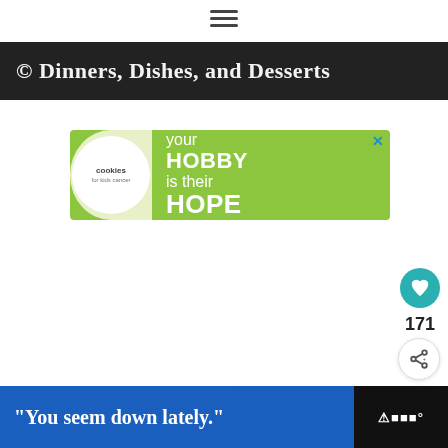[Figure (other): Hamburger/menu icon (three horizontal lines) centered at top of page]
[Figure (other): Dark banner image with watermark text '© Dinners, Dishes, and Desserts']
[Figure (other): Advertisement banner: green background with cookies for kids cancer logo (circle with hands and heart cookie), text 'your HOBBY is their HOPE', close X button]
[Figure (other): Teal circular heart/like button]
171
[Figure (other): White circular share button with share icon]
[Figure (other): What's Next panel with thumbnail of cucumber tomato salad and text 'WHAT'S NEXT → Cucumber Tomato Sala...']
[Figure (other): Bottom advertisement banner: blue section with text '"You seem down lately."' and dark right section with brand logo/text]